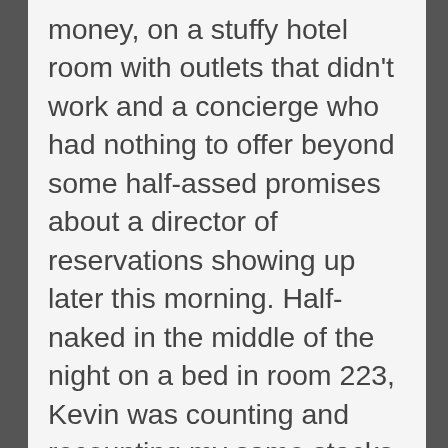money, on a stuffy hotel room with outlets that didn't work and a concierge who had nothing to offer beyond some half-assed promises about a director of reservations showing up later this morning. Half-naked in the middle of the night on a bed in room 223, Kevin was counting and recounting my same stacks of coveted cash. Dollar bills that, in a bizarro set of circumstances, I might be just as reluctant to lose.
“Kevin, I totally agree with you,” I replied, falling into an empathic stride that, despite myself, felt genuine. “This